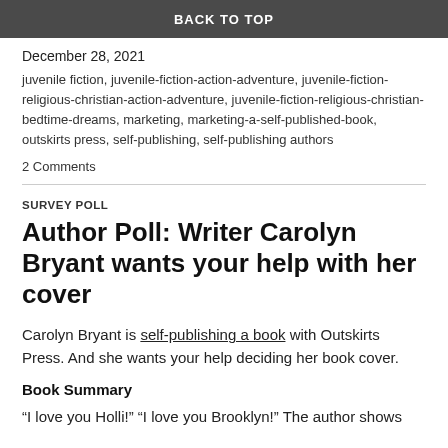BACK TO TOP
December 28, 2021
juvenile fiction, juvenile-fiction-action-adventure, juvenile-fiction-religious-christian-action-adventure, juvenile-fiction-religious-christian-bedtime-dreams, marketing, marketing-a-self-published-book, outskirts press, self-publishing, self-publishing authors
2 Comments
SURVEY POLL
Author Poll: Writer Carolyn Bryant wants your help with her cover
Carolyn Bryant is self-publishing a book with Outskirts Press. And she wants your help deciding her book cover.
Book Summary
“I love you Holli!” “I love you Brooklyn!” The author shows